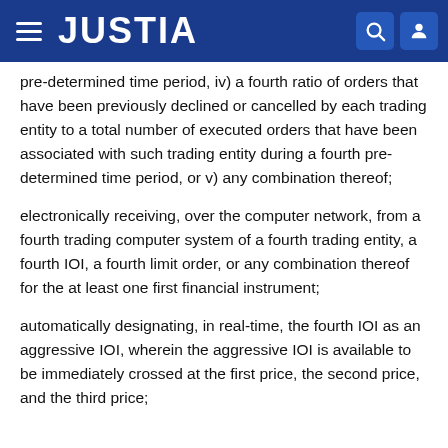JUSTIA
pre-determined time period, iv) a fourth ratio of orders that have been previously declined or cancelled by each trading entity to a total number of executed orders that have been associated with such trading entity during a fourth pre-determined time period, or v) any combination thereof;
electronically receiving, over the computer network, from a fourth trading computer system of a fourth trading entity, a fourth IOI, a fourth limit order, or any combination thereof for the at least one first financial instrument;
automatically designating, in real-time, the fourth IOI as an aggressive IOI, wherein the aggressive IOI is available to be immediately crossed at the first price, the second price, and the third price;